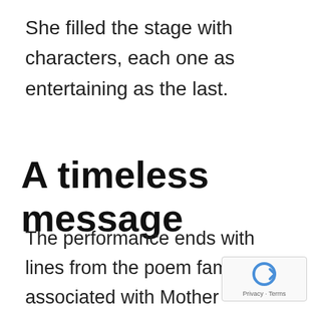She filled the stage with characters, each one as entertaining as the last.
A timeless message
The performance ends with lines from the poem famously associated with Mother Theresa, “Do It Anyway”. Hedy Lamarr was the subject of many disappointments, she didn’t always get